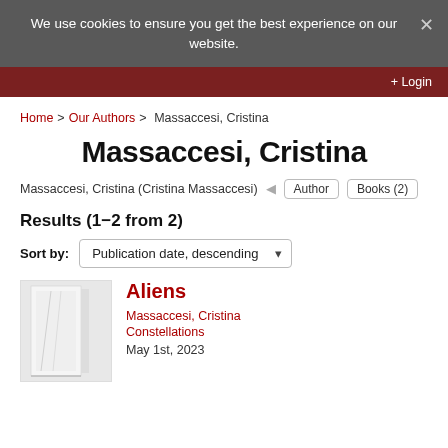We use cookies to ensure you get the best experience on our website.
Login
Home > Our Authors > Massaccesi, Cristina
Massaccesi, Cristina
Massaccesi, Cristina (Cristina Massaccesi)  Author  Books (2)
Results (1−2 from 2)
Sort by: Publication date, descending
Aliens
Massaccesi, Cristina
Constellations
May 1st, 2023